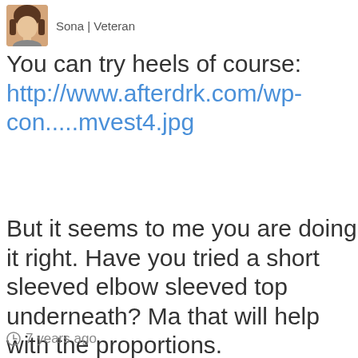[Figure (photo): Small avatar photo of a woman with brown hair, partial view]
You can try heels of course: http://www.afterdrk.com/wp-con.....mvest4.jpg
But it seems to me you are doing it right. Have you tried a short sleeved elbow sleeved top underneath? Ma that will help with the proportions.
7 years ago